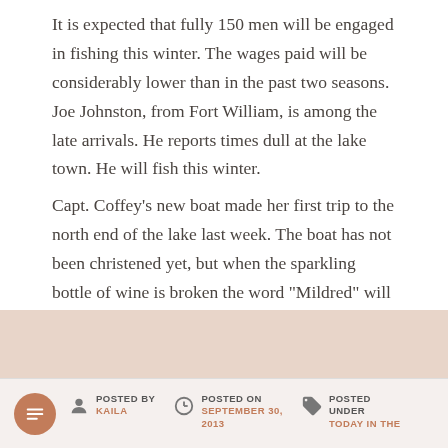It is expected that fully 150 men will be engaged in fishing this winter. The wages paid will be considerably lower than in the past two seasons. Joe Johnston, from Fort William, is among the late arrivals. He reports times dull at the lake town. He will fish this winter.
Capt. Coffey’s new boat made her first trip to the north end of the lake last week. The boat has not been christened yet, but when the sparkling bottle of wine is broken the word “Mildred” will appear.
POSTED BY KAILA | POSTED ON SEPTEMBER 30, 2013 | POSTED UNDER TODAY IN THE